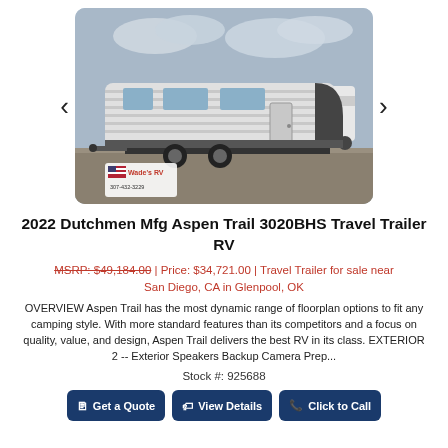[Figure (photo): Photograph of a 2022 Dutchmen Mfg Aspen Trail 3020BHS Travel Trailer RV parked outdoors with a Wade's RV logo overlay in the bottom-left corner. Navigation arrows on left and right sides.]
2022 Dutchmen Mfg Aspen Trail 3020BHS Travel Trailer RV
MSRP: $49,184.00 | Price: $34,721.00 | Travel Trailer for sale near San Diego, CA in Glenpool, OK
OVERVIEW Aspen Trail has the most dynamic range of floorplan options to fit any camping style. With more standard features than its competitors and a focus on quality, value, and design, Aspen Trail delivers the best RV in its class. EXTERIOR 2 -- Exterior Speakers Backup Camera Prep...
Stock #: 925688
Get a Quote | View Details | Click to Call